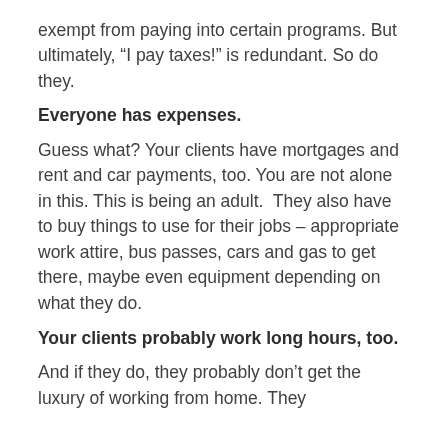exempt from paying into certain programs. But ultimately, “I pay taxes!” is redundant. So do they.
Everyone has expenses.
Guess what? Your clients have mortgages and rent and car payments, too. You are not alone in this. This is being an adult.  They also have to buy things to use for their jobs – appropriate work attire, bus passes, cars and gas to get there, maybe even equipment depending on what they do.
Your clients probably work long hours, too.
And if they do, they probably don’t get the luxury of working from home. They